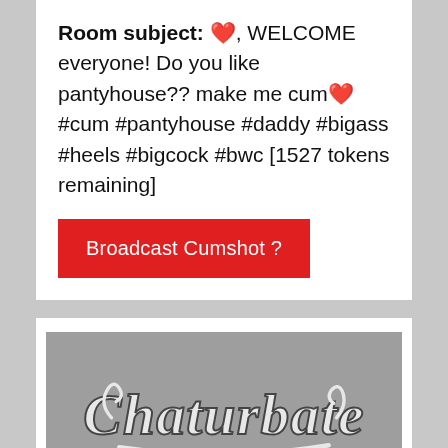Room subject: ❤️, WELCOME everyone! Do you like pantyhouse?? make me cum❤️ #cum #pantyhouse #daddy #bigass #heels #bigcock #bwc [1527 tokens remaining]
Broadcast Cumshot ?
[Figure (logo): Chaturbate logo in script font, white/gray on gray background]